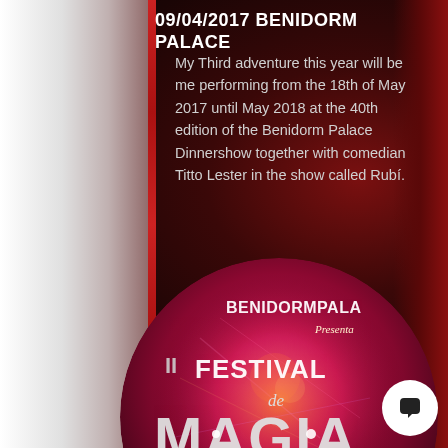09/04/2017 BENIDORM PALACE
My Third adventure this year will be me performing from the 18th of May 2017 until May 2018 at the 40th edition of the Benidorm Palace Dinnershow together with comedian Titto Lester in the show called Rubí.
[Figure (photo): Circular promotional poster for 'II Festival de Magia - Ciudad de Benidorm' at Benidorm Palace, featuring the text 'BENIDORM PALACE Presenta II FESTIVAL de MAGIA CIUDAD DE BENIDORM' on a vibrant red and pink background with colorful sparkle effects]